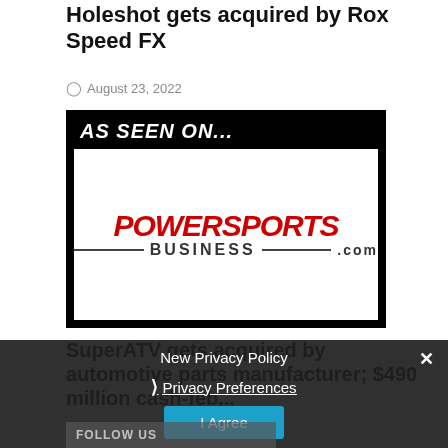Holeshot gets acquired by Rox Speed FX
August 23, 2022
[Figure (logo): Advertisement image showing 'AS SEEN ON...' text in white italic bold on black background, with PowerSports Business .com logo below on white background]
SuperATV gets acquired by automotive parts manufacturer; $490 million cash-feb...
New Privacy Policy
Privacy Preferences
I Agree
FOLLOW US